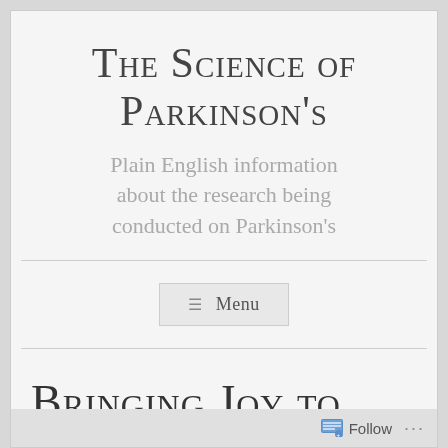The Science of Parkinson’s
Plain English information about the research being conducted on Parkinson’s
≡ Menu
Bringing Joy to
Follow ...